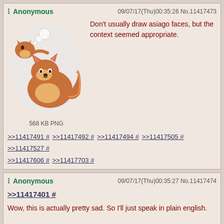Anonymous   09/07/17(Thu)00:35:26 No.11417473
[Figure (illustration): Cartoon fox/animal illustration with multiple characters]
568 KB PNG
Don't usually draw asiago faces, but the context seemed appropriate.
>>11417491 # >>11417492 # >>11417494 # >>11417505 # >>11417527 # >>11417606 # >>11417703 #
Anonymous   09/07/17(Thu)00:35:27 No.11417474
>>11417401 # Wow, this is actually pretty sad. So I'll just speak in plain english.

People complaining about people complaining about something is just as bad as the regular complaining. Especially when you always bring it up.

I changed your quote very slightly to show how much your argument can be made about you.
>>11417515 # >>11417574 #